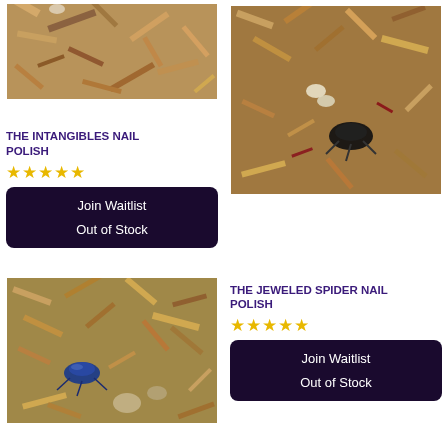[Figure (photo): Close-up photo of wood chips, bark fragments and mulch — product image for The Intangibles Nail Polish]
THE INTANGIBLES NAIL POLISH
★★★★★
Join Waitlist
Out of Stock
[Figure (photo): Close-up photo of wood chips with a black beetle and pale grub insects — product image for The Jeweled Spider Nail Polish]
THE JEWELED SPIDER NAIL POLISH
★★★★★
Join Waitlist
Out of Stock
[Figure (photo): Close-up photo of wood chips and mulch with a shiny blue beetle — bottom left product image]